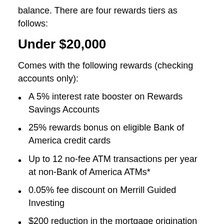balance. There are four rewards tiers as follows:
Under $20,000
Comes with the following rewards (checking accounts only):
A 5% interest rate booster on Rewards Savings Accounts
25% rewards bonus on eligible Bank of America credit cards
Up to 12 no-fee ATM transactions per year at non-Bank of America ATMs*
0.05% fee discount on Merrill Guided Investing
$200 reduction in the mortgage origination fee
0.25% interest rate discount on auto loans